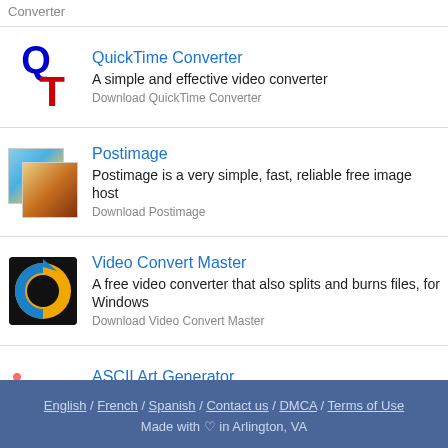Converter
QuickTime Converter
A simple and effective video converter
Download QuickTime Converter
Postimage
Postimage is a very simple, fast, reliable free image host
Download Postimage
Video Convert Master
A free video converter that also splits and burns files, for Windows
Download Video Convert Master
ASCII Art Generator
Convert images into higher quality content
Download ASCII Art Generator
English / French / Spanish / Contact us / DMCA / Terms of Use
Made with ♡ in Arlington, VA